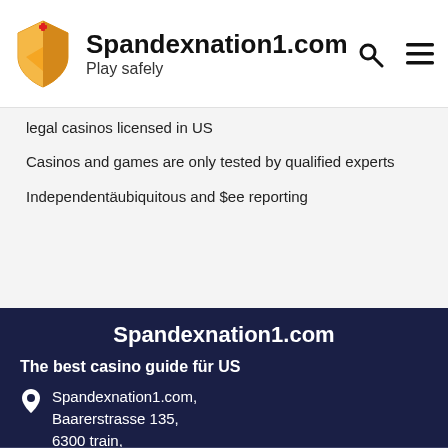Spandexnation1.com — Play safely
legal casinos licensed in US
Casinos and games are only tested by qualified experts
Independentäubiquitous and $ee reporting
Spandexnation1.com
The best casino guide für US
Spandexnation1.com, Baarerstrasse 135, 6300 train, US
contact form